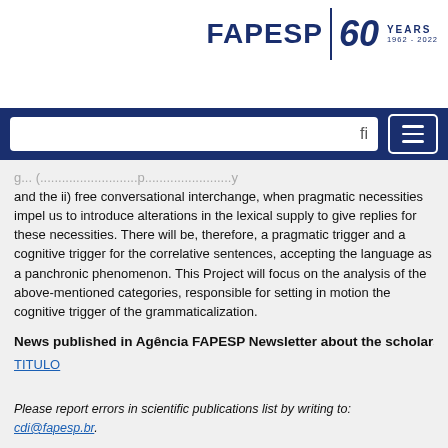[Figure (logo): FAPESP 60 Years 1962-2022 logo in dark blue]
[Figure (screenshot): Navigation bar with white search box and hamburger menu button on dark blue background]
and the ii) free conversational interchange, when pragmatic necessities impel us to introduce alterations in the lexical supply to give replies for these necessities. There will be, therefore, a pragmatic trigger and a cognitive trigger for the correlative sentences, accepting the language as a panchronic phenomenon. This Project will focus on the analysis of the above-mentioned categories, responsible for setting in motion the cognitive trigger of the grammaticalization.
News published in Agência FAPESP Newsletter about the scholarship
TITULO
Please report errors in scientific publications list by writing to: cdi@fapesp.br.